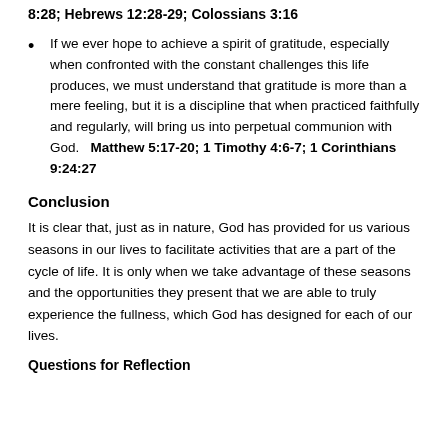8:28; Hebrews 12:28-29; Colossians 3:16
If we ever hope to achieve a spirit of gratitude, especially when confronted with the constant challenges this life produces, we must understand that gratitude is more than a mere feeling, but it is a discipline that when practiced faithfully and regularly, will bring us into perpetual communion with God.   Matthew 5:17-20; 1 Timothy 4:6-7; 1 Corinthians 9:24:27
Conclusion
It is clear that, just as in nature, God has provided for us various seasons in our lives to facilitate activities that are a part of the cycle of life. It is only when we take advantage of these seasons and the opportunities they present that we are able to truly experience the fullness, which God has designed for each of our lives.
Questions for Reflection